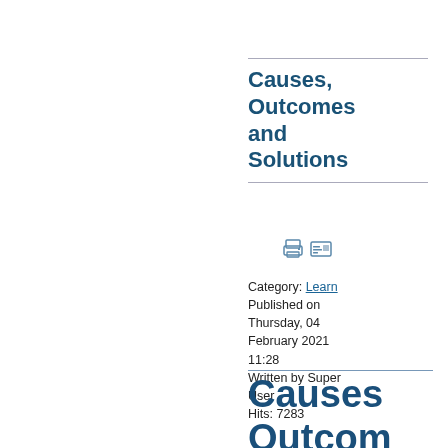Causes, Outcomes and Solutions
Category: Learn
Published on Thursday, 04 February 2021 11:28
Written by Super User
Hits: 7283
[Figure (screenshot): Large bold heading text cropped: 'Causes Outcom and Solutio' — a large decorative repeat of the title, partially cut off at right edge]